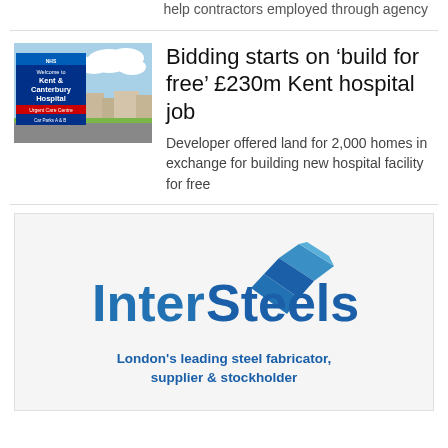help contractors employed through agency
[Figure (photo): Photo of Kent & Canterbury Hospital welcome sign with blue sky background]
Bidding starts on ‘build for free’ £230m Kent hospital job
Developer offered land for 2,000 homes in exchange for building new hospital facility for free
[Figure (logo): InterSteels logo with blue geometric icon and text: London's leading steel fabricator, supplier & stockholder]